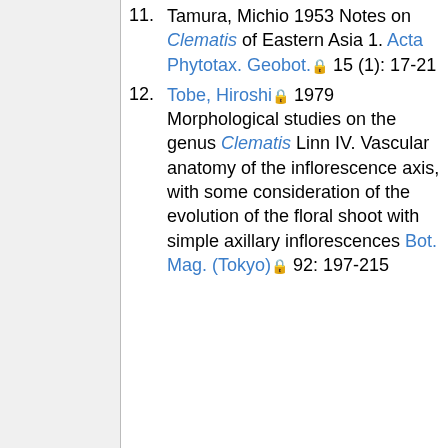11. Tamura, Michio 1953 Notes on Clematis of Eastern Asia 1. Acta Phytotax. Geobot. 15 (1): 17-21
12. Tobe, Hiroshi 1979 Morphological studies on the genus Clematis Linn IV. Vascular anatomy of the inflorescence axis, with some consideration of the evolution of the floral shoot with simple axillary inflorescences Bot. Mag. (Tokyo) 92: 197-215